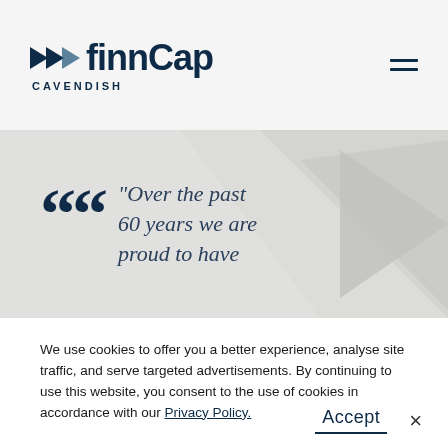[Figure (logo): finnCap Cavendish logo with double arrow icon in navy blue]
[Figure (illustration): Geometric banner with light grey triangles and a large opening quotation mark in navy, beside italic quote text: "Over the past 60 years we are proud to have"]
We use cookies to offer you a better experience, analyse site traffic, and serve targeted advertisements. By continuing to use this website, you consent to the use of cookies in accordance with our Privacy Policy.
Accept
×